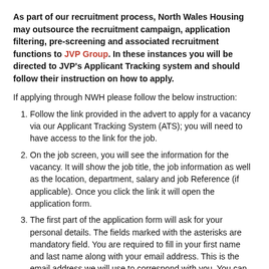As part of our recruitment process, North Wales Housing may outsource the recruitment campaign, application filtering, pre-screening and associated recruitment functions to JVP Group. In these instances you will be directed to JVP's Applicant Tracking system and should follow their instruction on how to apply.
If applying through NWH please follow the below instruction:
Follow the link provided in the advert to apply for a vacancy via our Applicant Tracking System (ATS); you will need to have access to the link for the job.
On the job screen, you will see the information for the vacancy. It will show the job title, the job information as well as the location, department, salary and job Reference (if applicable). Once you click the link it will open the application form.
The first part of the application form will ask for your personal details. The fields marked with the asterisks are mandatory field. You are required to fill in your first name and last name along with your email address. This is the email address we will use to correspond with you. You can also fill in your post code and use the address finder, and then your phone number should you wish to.
Once you click 'next' you will be taken to the questions that